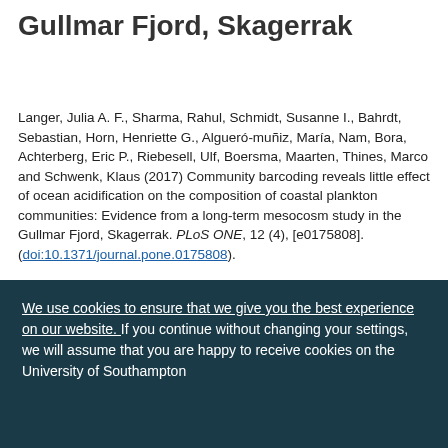Gullmar Fjord, Skagerrak
Langer, Julia A. F., Sharma, Rahul, Schmidt, Susanne I., Bahrdt, Sebastian, Horn, Henriette G., Algueró-muñiz, María, Nam, Bora, Achterberg, Eric P., Riebesell, Ulf, Boersma, Maarten, Thines, Marco and Schwenk, Klaus (2017) Community barcoding reveals little effect of ocean acidification on the composition of coastal plankton communities: Evidence from a long-term mesosocosm study in the Gullmar Fjord, Skagerrak. PLoS ONE, 12 (4), [e0175808]. (doi:10.1371/journal.pone.0175808).
We use cookies to ensure that we give you the best experience on our website. If you continue without changing your settings, we will assume that you are happy to receive cookies on the University of Southampton...